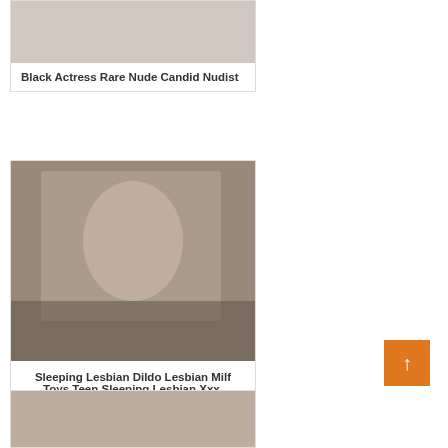Black Actress Rare Nude Candid Nudist
[Figure (photo): Photo placeholder for first card]
Sleeping Lesbian Dildo Lesbian Milf Toys Teen Sleeping Lesbian Xxx.
[Figure (photo): Photo of man in sunglasses with black jacket]
[Figure (photo): Photo of young woman outdoors near rocks]